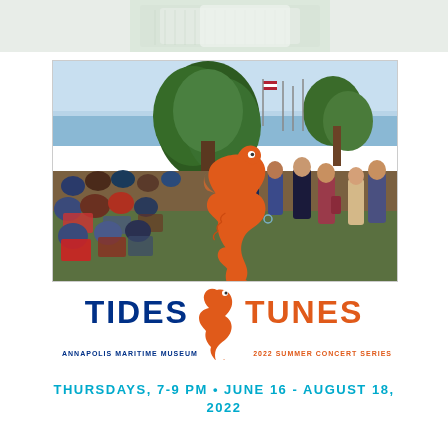[Figure (photo): Partial photo at top of page showing close-up of fabric/clothing]
[Figure (photo): Outdoor summer concert scene at Annapolis Maritime Museum with crowd of people sitting in chairs on a lawn, large tree in center, waterfront with boats and flags in background, an orange seahorse logo overlay and blue musical notes]
TIDES & TUNES
ANNAPOLIS MARITIME MUSEUM
2022 SUMMER CONCERT SERIES
THURSDAYS, 7-9 PM • JUNE 16 - AUGUST 18, 2022